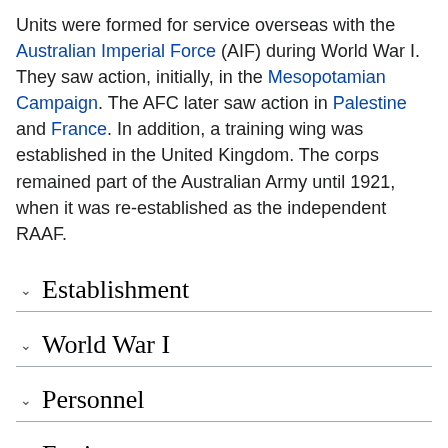Units were formed for service overseas with the Australian Imperial Force (AIF) during World War I. They saw action, initially, in the Mesopotamian Campaign. The AFC later saw action in Palestine and France. In addition, a training wing was established in the United Kingdom. The corps remained part of the Australian Army until 1921, when it was re-established as the independent RAAF.
Establishment
World War I
Personnel
Equipment